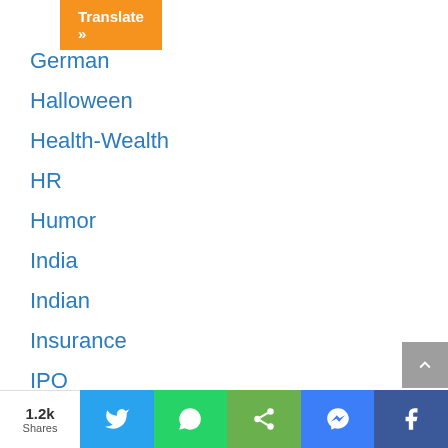Translate »
German
Halloween
Health-Wealth
HR
Humor
India
Indian
Insurance
IPO
Islam
Jewish
1.2k Shares